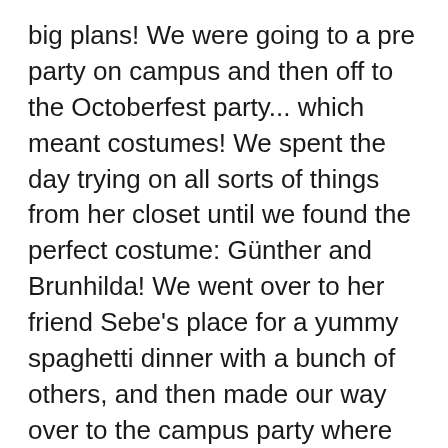big plans! We were going to a pre party on campus and then off to the Octoberfest party... which meant costumes! We spent the day trying on all sorts of things from her closet until we found the perfect costume: Günther and Brunhilda! We went over to her friend Sebe's place for a yummy spaghetti dinner with a bunch of others, and then made our way over to the campus party where the usual campus shenanigans ensued. Face painting, beer pong, loud music, bad singing, beer bonging and lots of hugs ensued. Then Kajsa and I and another two guys dressed hilariously as german girls made our way to the student bar for the Octoberfest Party. Kajsa bought me my first non alcoholic beer since I quit drinking. Surprise, it tasted just like bad beer...! Can't say I missed that! We danced and laughed and photobombed and decided to leave early and make a good old McDonalds stop before bed, as we were...